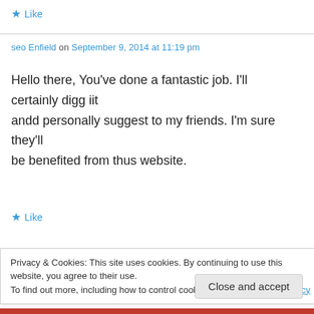★ Like
seo Enfield on September 9, 2014 at 11:19 pm
Hello there, You've done a fantastic job. I'll certainly digg iit andd personally suggest to my friends. I'm sure they'll be benefited from thus website.
★ Like
Privacy & Cookies: This site uses cookies. By continuing to use this website, you agree to their use. To find out more, including how to control cookies, see here: Cookie Policy
Close and accept